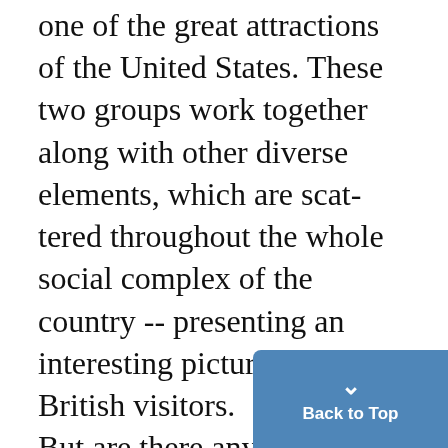one of the great attractions of the United States. These two groups work together along with other diverse elements, which are scattered throughout the whole social complex of the country -- presenting an interesting picture for British visitors. But are there any additional reasons that attract the student, as opposed to the rest of the population? I believe there are, and this belief is borne out by the tremendous urge which induces a